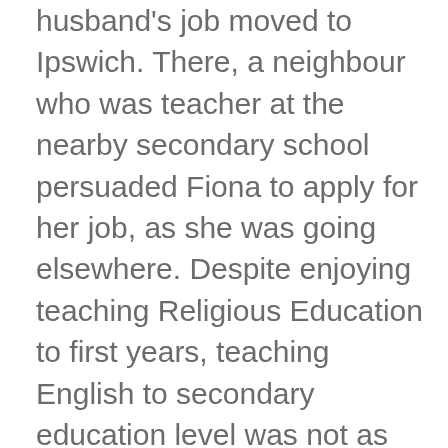husband's job moved to Ipswich. There, a neighbour who was teacher at the nearby secondary school persuaded Fiona to apply for her job, as she was going elsewhere. Despite enjoying teaching Religious Education to first years, teaching English to secondary education level was not as enjoyable because it was the time of Raising of the School Leaving Age (ROSLA), from 15 to 16.